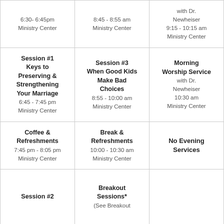| Column 1 | Column 2 | Column 3 |
| --- | --- | --- |
| 6:30- 6:45pm
Ministry Center | 8:45 - 8:55 am
Ministry Center | with Dr.
Newheiser
9:15 - 10:15 am
Ministry Center |
| Session #1
Keys to
Preserving &
Strengthening
Your Marriage
6:45 - 7:45 pm
Ministry Center | Session #3
When Good Kids
Make Bad
Choices
8:55 - 10:00 am
Ministry Center | Morning
Worship Service
with Dr.
Newheiser
10:30 am
Ministry Center |
| Coffee &
Refreshments
7:45 pm - 8:05 pm
Ministry Center | Break &
Refreshments
10:00 - 10:30 am
Ministry Center | No Evening
Services |
| Session #2 | Breakout
Sessions*
(See Breakout |  |